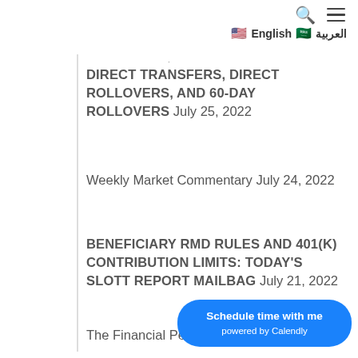🔍 ☰ 🇺🇸 English 🇸🇦 العربية
DIRECT TRANSFERS, DIRECT ROLLOVERS, AND 60-DAY ROLLOVERS July 25, 2022
Weekly Market Commentary July 24, 2022
BENEFICIARY RMD RULES AND 401(K) CONTRIBUTION LIMITS: TODAY'S SLOTT REPORT MAILBAG July 21, 2022
The Financial Pe... July 21, 2022
[Figure (other): Calendly scheduling button: 'Schedule time with me powered by Calendly']